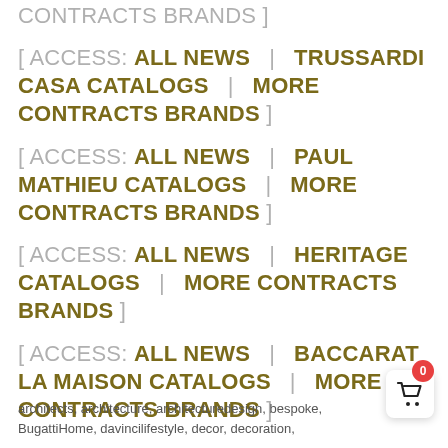[ ACCESS: ALL NEWS  |  TRUSSARDI CASA CATALOGS  |  MORE CONTRACTS BRANDS ]
[ ACCESS: ALL NEWS  |  PAUL MATHIEU CATALOGS  |  MORE CONTRACTS BRANDS ]
[ ACCESS: ALL NEWS  |  HERITAGE CATALOGS  |  MORE CONTRACTS BRANDS ]
[ ACCESS: ALL NEWS  |  BACCARAT LA MAISON CATALOGS  |  MORE CONTRACTS BRANDS ]
architects, architecture, architecturedesign, bespoke, BugattiHome, davincilifestyle, decor, decoration,